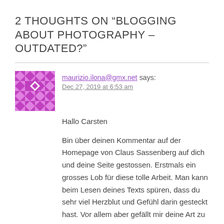2 THOUGHTS ON “BLOGGING ABOUT PHOTOGRAPHY – OUTDATED?”
[Figure (illustration): Purple geometric decorative avatar icon with diamond and square mosaic pattern]
maurizio.ilona@gmx.net says:
Dec 27, 2019 at 6:53 am
Hallo Carsten
Bin über deinen Kommentar auf der Homepage von Claus Sassenberg auf dich und deine Seite gestossen. Erstmals ein grosses Lob für diese tolle Arbeit. Man kann beim Lesen deines Texts spüren, dass du sehr viel Herzblut und Gefühl darin gesteckt hast. Vor allem aber gefällt mir deine Art zu Schreiben. Ich fotografiere zwar sehr selten mit der Leica M6 analog und habe noch meine Yashica FX-D Digital meines Vaters, aber bin ehrlich gesagt nicht so versiert damit. Ich finde